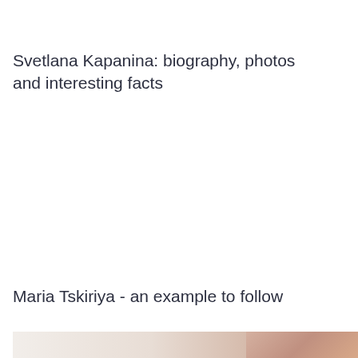Svetlana Kapanina: biography, photos and interesting facts
Maria Tskiriya - an example to follow
[Figure (photo): Partial photo visible at the bottom of the page, showing what appears to be a person, cropped]